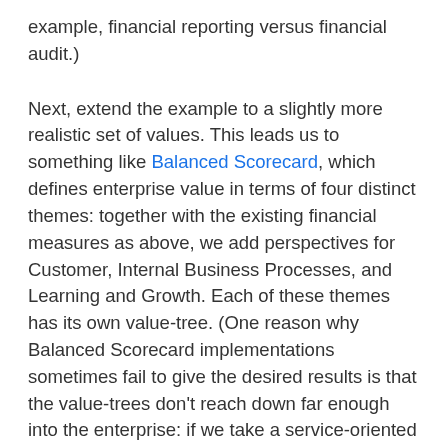example, financial reporting versus financial audit.)
Next, extend the example to a slightly more realistic set of values. This leads us to something like Balanced Scorecard, which defines enterprise value in terms of four distinct themes: together with the existing financial measures as above, we add perspectives for Customer, Internal Business Processes, and Learning and Growth. Each of these themes has its own value-tree. (One reason why Balanced Scorecard implementations sometimes fail to give the desired results is that the value-trees don't reach down far enough into the enterprise: if we take a service-oriented view of the enterprise, every activity has a 'customer',